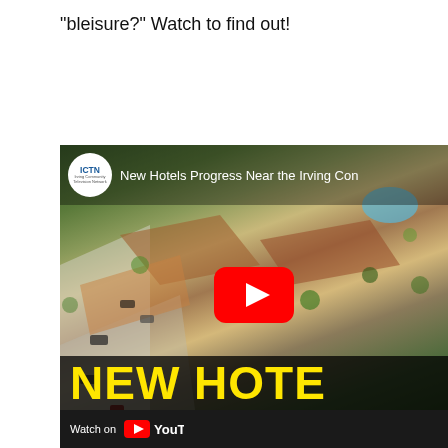"bleisure?" Watch to find out!
[Figure (screenshot): YouTube video thumbnail showing an aerial rendering of new hotel properties near the Irving Convention Center. The video is titled 'New Hotels Progress Near the Irving Con...' with the ICTN (Irving Community Television Network) logo. A red YouTube play button is centered on the image. The bottom shows text 'NEW HOTE...' in large yellow letters on a dark background, and a 'Watch on YouTube' bar at the bottom.]